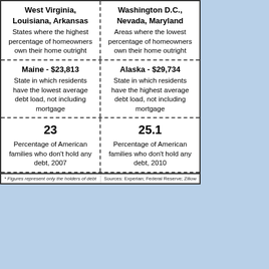West Virginia, Louisiana, Arkansas — States where the highest percentage of homeowners own their home outright
Washington D.C., Nevada, Maryland — Areas where the lowest percentage of homeowners own their home outright
Maine - $23,813 — State in which residents have the lowest average debt load, not including mortgage
Alaska - $29,734 — State in which residents have the highest average debt load, not including mortgage
23 — Percentage of American families who don't hold any debt, 2007
25.1 — Percentage of American families who don't hold any debt, 2010
* Figures represent only the holders of debt
Sources: Experian; Federal Reserve; Zillow